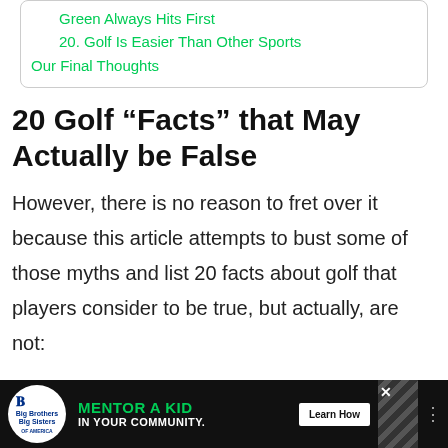Green Always Hits First
20. Golf Is Easier Than Other Sports
Our Final Thoughts
20 Golf “Facts” that May Actually be False
However, there is no reason to fret over it because this article attempts to bust some of those myths and list 20 facts about golf that players consider to be true, but actually, are not:
[Figure (other): Advertisement banner for Big Brothers Big Sisters: MENTOR A KID IN YOUR COMMUNITY. Learn How button.]